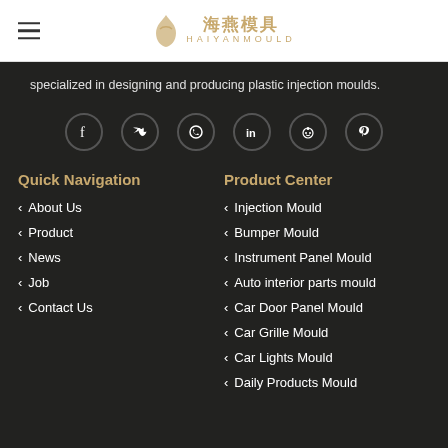[Figure (logo): Haiyan Mould logo with Chinese characters 海燕模具 and HAIYANMOULD text in gold]
specialized in designing and producing plastic injection moulds.
[Figure (infographic): Social media icons: Facebook, Twitter, WhatsApp, LinkedIn, Reddit, Pinterest in circles]
Quick Navigation
Product Center
About Us
Product
News
Job
Contact Us
Injection Mould
Bumper Mould
Instrument Panel Mould
Auto interior parts mould
Car Door Panel Mould
Car Grille Mould
Car Lights Mould
Daily Products Mould